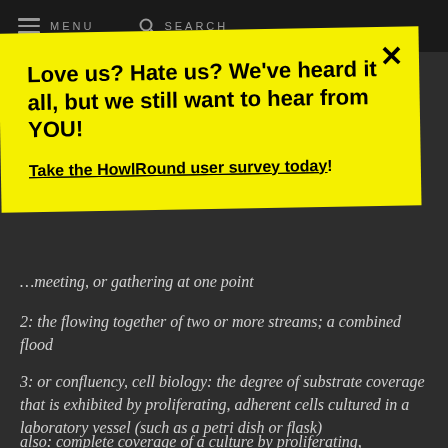MENU  SEARCH
Love us? Hate us? We've heard it all, but we still want to hear from YOU!
Take the HowlRound user survey today!
...meeting, or gathering at one point
2: the flowing together of two or more streams; a combined flood
3: or confluency, cell biology: the degree of substrate coverage that is exhibited by proliferating, adherent cells cultured in a laboratory vessel (such as a petri dish or flask)
also: complete coverage of a culture by proliferating,